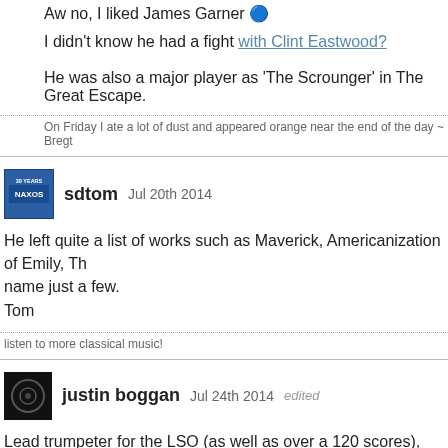Aw no, I liked James Garner 🔵
I didn't know he had a fight with Clint Eastwood?
He was also a major player as 'The Scrounger' in The Great Escape.
On Friday I ate a lot of dust and appeared orange near the end of the day ~ Bregt
sdtom Jul 20th 2014
He left quite a list of works such as Maverick, Americanization of Emily, Th… name just a few.
Tom
listen to more classical music!
justin boggan Jul 24th 2014 edited
Lead trumpeter for the LSO (as well as over a 120 scores), died in a car a…